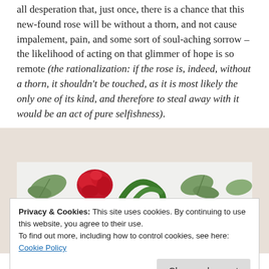all desperation that, just once, there is a chance that this new-found rose will be without a thorn, and not cause impalement, pain, and some sort of soul-aching sorrow – the likelihood of acting on that glimmer of hope is so remote (the rationalization: if the rose is, indeed, without a thorn, it shouldn't be touched, as it is most likely the only one of its kind, and therefore to steal away with it would be an act of pure selfishness).
[Figure (illustration): Decorative illustration showing embroidered or drawn roses and leaves in red and green on a light background.]
Privacy & Cookies: This site uses cookies. By continuing to use this website, you agree to their use.
To find out more, including how to control cookies, see here:
Cookie Policy
Close and accept
liked? An uncommon view, to say the least, but then again...